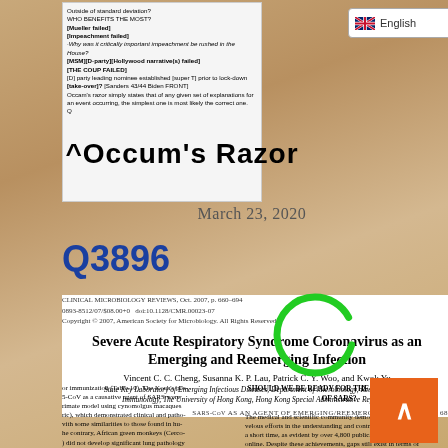[Figure (screenshot): Screenshot of a QAnon post with text about Mueller failed, Impeachment failed, Hollywood narrative failed, THE COUP FAILED, with Occum's Razor reference]
^Occum's Razor
[Figure (screenshot): English language dropdown selector with flag]
March 23, 2020
Q3896
CLINICAL MICROBIOLOGY REVIEWS, Oct. 2007, p. 660–694
0893-8512/07/$08.00+0  doi:10.1128/CMR.00023-07
Copyright © 2007, American Society for Microbiology. All Rights Reserved.
Severe Acute Respiratory Syndrome Coronavirus as an Emerging and Reemerging Infection
Vincent C. C. Cheng, Susanna K. P. Lau, Patrick C. Y. Woo, and Kwok Yu
State Key Laboratory of Emerging Infectious Diseases, Department of Microbiology, Research Centre Immunology, The University of Hong Kong, Hong Kong Special Administrative Region, C
SARS-CoV AS AN AGENT OF EMERGING/REEMERGING INFECTION   683
or immunization (Table 10). The Koch's pos-
5-CoV as a causative agent of SARS were
rimate model using cynomolgus macaques
ric), which demonstrated clinical and patho-
vith some similarities to those found in hu-
he contrary, African green monkeys (Cerco-
) did not develop significant lung pathology
with the SARS-CoV. The lack of consistency
SHOULD WE BE READY FOR THE REEMERGENCE OF SARS?
The medical and scientific community demo-
velous efforts in the understanding and control of
a short time, as evident by over 4,800 publicat-
online. Despite these achievements, gaps still exist in terms of
the molecular basis of the physical stability and transmissibility
of this virus, the molecular and immunological basis of disease